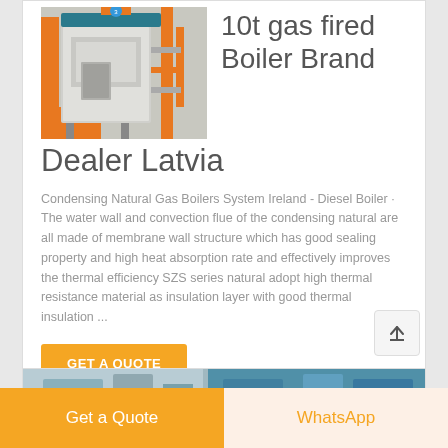[Figure (photo): Industrial gas fired boiler unit with orange frame structure]
10t gas fired Boiler Brand Dealer Latvia
Condensing Natural Gas Boilers System Ireland - Diesel Boiler · The water wall and convection flue of the condensing natural are all made of membrane wall structure which has good sealing property and high heat absorption rate and effectively improves the thermal efficiency SZS series natural adopt high thermal resistance material as insulation layer with good thermal insulation ...
[Figure (photo): Industrial boiler facility with blue and white equipment]
Get a Quote    WhatsApp